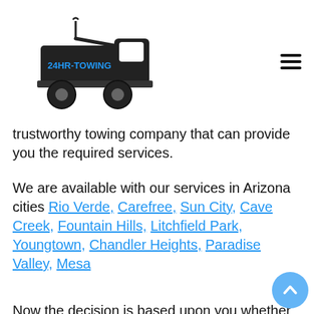24HR-TOWING
trustworthy towing company that can provide you the required services.
We are available with our services in Arizona cities Rio Verde, Carefree, Sun City, Cave Creek, Fountain Hills, Litchfield Park, Youngtown, Chandler Heights, Paradise Valley, Mesa
Now the decision is based upon you whether you want to take a speedy and friendly service that can save your day or by getting some ordinary services from any ordinary company that can ruin your day. We know you are wise